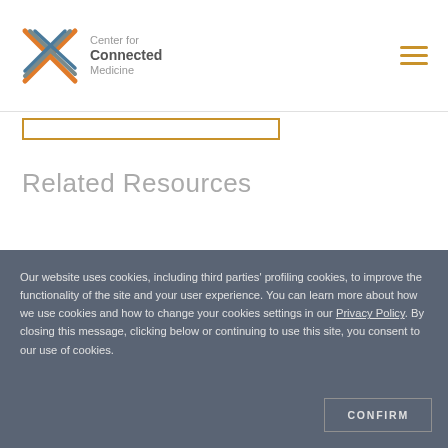Center for Connected Medicine
Related Resources
[Figure (photo): Three professional headshot photos of medical professionals side by side]
Our website uses cookies, including third parties' profiling cookies, to improve the functionality of the site and your user experience. You can learn more about how we use cookies and how to change your cookies settings in our Privacy Policy. By closing this message, clicking below or continuing to use this site, you consent to our use of cookies.